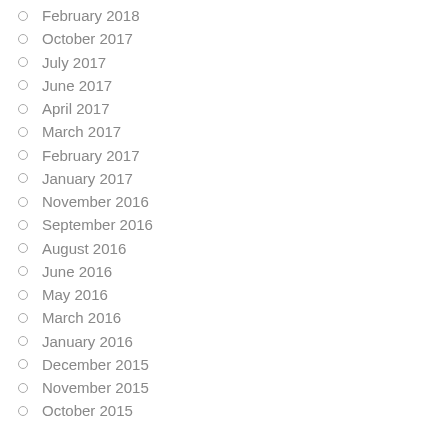February 2018
October 2017
July 2017
June 2017
April 2017
March 2017
February 2017
January 2017
November 2016
September 2016
August 2016
June 2016
May 2016
March 2016
January 2016
December 2015
November 2015
October 2015